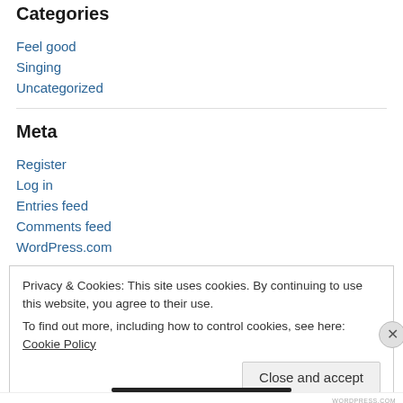Categories
Feel good
Singing
Uncategorized
Meta
Register
Log in
Entries feed
Comments feed
WordPress.com
Privacy & Cookies: This site uses cookies. By continuing to use this website, you agree to their use. To find out more, including how to control cookies, see here: Cookie Policy
Close and accept